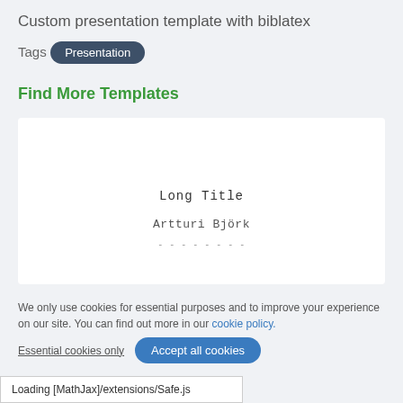Custom presentation template with biblatex
Tags
Presentation
Find More Templates
[Figure (screenshot): Preview of a LaTeX presentation template showing 'Long Title' and author 'Artturi Björk' in monospace font on a white background]
We only use cookies for essential purposes and to improve your experience on our site. You can find out more in our cookie policy.
Essential cookies only   Accept all cookies
Loading [MathJax]/extensions/Safe.js